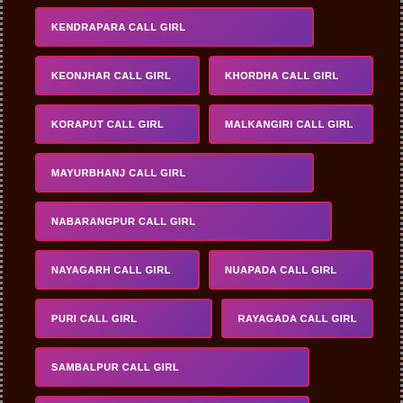KENDRAPARA CALL GIRL
KEONJHAR CALL GIRL
KHORDHA CALL GIRL
KORAPUT CALL GIRL
MALKANGIRI CALL GIRL
MAYURBHANJ CALL GIRL
NABARANGPUR CALL GIRL
NAYAGARH CALL GIRL
NUAPADA CALL GIRL
PURI CALL GIRL
RAYAGADA CALL GIRL
SAMBALPUR CALL GIRL
SUBARNAPUR CALL GIRL
SUNDARGARH CALL GIRL